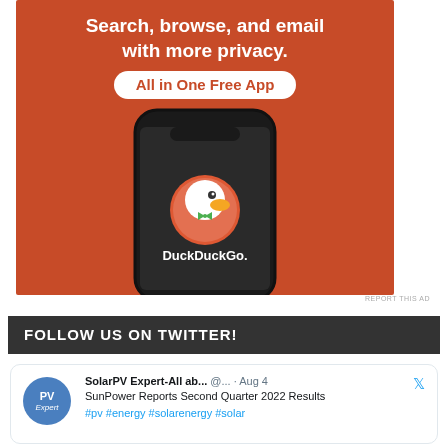[Figure (advertisement): DuckDuckGo ad: orange background with text 'Search, browse, and email with more privacy. All in One Free App' and a smartphone showing the DuckDuckGo logo and name]
REPORT THIS AD
FOLLOW US ON TWITTER!
[Figure (screenshot): Twitter/social media card showing SolarPV Expert account tweet: 'SunPower Reports Second Quarter 2022 Results' with hashtags #pv #energy #solarenergy #solar, posted Aug 4]
SolarPV Expert-All ab... @... · Aug 4
SunPower Reports Second Quarter 2022 Results
#pv #energy #solarenergy #solar